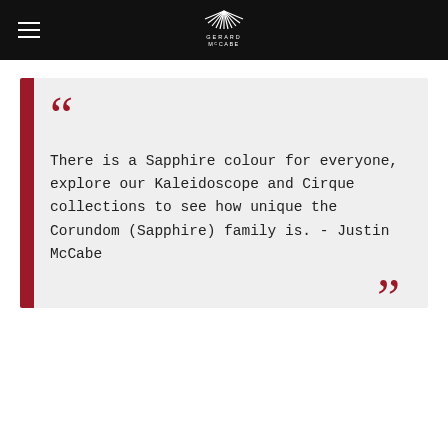Gerard McCabe
There is a Sapphire colour for everyone, explore our Kaleidoscope and Cirque collections to see how unique the Corundom (Sapphire) family is. - Justin McCabe